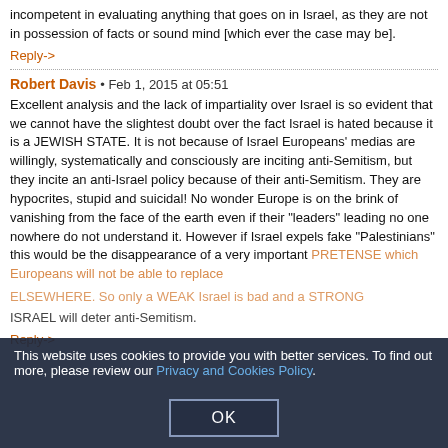incompetent in evaluating anything that goes on in Israel, as they are not in possession of facts or sound mind [which ever the case may be].
Reply->
Robert Davis • Feb 1, 2015 at 05:51
Excellent analysis and the lack of impartiality over Israel is so evident that we cannot have the slightest doubt over the fact Israel is hated because it is a JEWISH STATE. It is not because of Israel Europeans' medias are willingly, systematically and consciously are inciting anti-Semitism, but they incite an anti-Israel policy because of their anti-Semitism. They are hypocrites, stupid and suicidal! No wonder Europe is on the brink of vanishing from the face of the earth even if their "leaders" leading no one nowhere do not understand it. However if Israel expels fake "Palestinians" this would be the disappearance of a very important PRETENSE which Europeans will not be able to replace ELSEWHERE. So only a WEAK Israel is bad and a STRONG ISRAEL will deter anti-Semitism.
Reply->
This website uses cookies to provide you with better services. To find out more, please review our Privacy and Cookies Policy.
OK